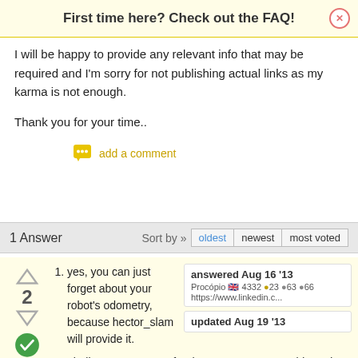First time here? Check out the FAQ!
I will be happy to provide any relevant info that may be required and I'm sorry for not publishing actual links as my karma is not enough.
Thank you for your time..
add a comment
1 Answer
Sort by » oldest newest most voted
yes, you can just forget about your robot's odometry, because hector_slam will provide it.
answered Aug 16 '13
Procópio 4332 ●23 ●63 ●66 https://www.linkedin.c...
updated Aug 19 '13
I believe you cannot, for that purpose you would need a slam tool, as gmapping.
You do not, you can just do navigation and localization